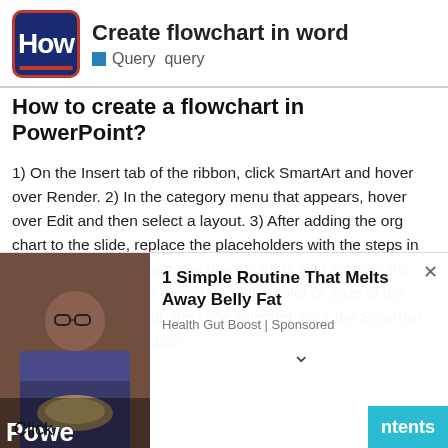[Figure (logo): How logo - dark blue rounded square with 'How' text in white and red underline]
Create flowchart in word
Query  query
How to create a flowchart in PowerPoint?
1) On the Insert tab of the ribbon, click SmartArt and hover over Render. 2) In the category menu that appears, hover over Edit and then select a layout. 3) After adding the org chart to the slide, replace the placeholders with the steps in your org chart. Replace text placeholders with steps in the flowchart. 4) You can also change the color or style of the SmartArt graphic. With the slide selected, click the SmartArt Design tab on the ribbon
[Figure (photo): Advertisement photo of a person with glasses, overlaid with partial text 'Powe']
1 Simple Routine That Melts Away Belly Fat
Health Gut Boost | Sponsored
Click
ntents